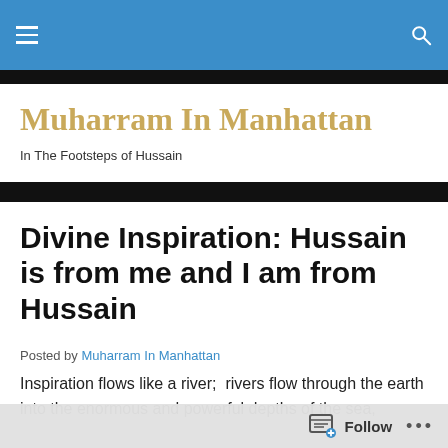Muharram In Manhattan — navigation bar
Muharram In Manhattan
In The Footsteps of Hussain
Divine Inspiration: Hussain is from me and I am from Hussain
Posted by Muharram In Manhattan
Inspiration flows like a river;  rivers flow through the earth into the enormous and powerful depths of the sea,
Follow ...